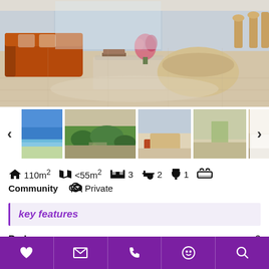[Figure (photo): Main interior photo of a spacious living room with orange sofa, beige curved sofa, glass coffee table, and wood floor. Bar stools visible at right.]
[Figure (photo): Thumbnail strip showing 5 property photos: coastal view, aerial landscape, interior living room, interior with door, bedroom.]
110m² <55m² 3 2 1  Community  Private
key features
Bedrooms: 3